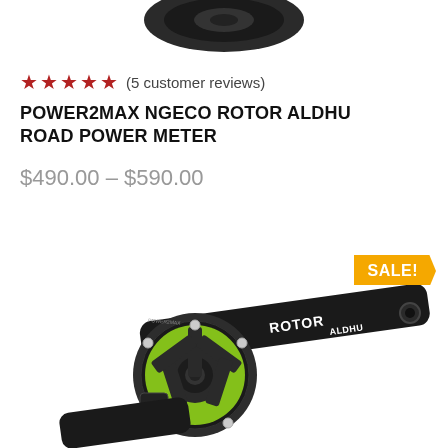[Figure (photo): Partial view of a bicycle crank/power meter component shown at top, cropped]
★★★★★ (5 customer reviews)
POWER2MAX NGECO ROTOR ALDHU ROAD POWER METER
$490.00 – $590.00
SALE!
[Figure (photo): Photo of the Power2Max NGeco Rotor ALDHU road power meter crank arm assembly showing black arm with ROTOR ALDHU branding and green chainring spider]